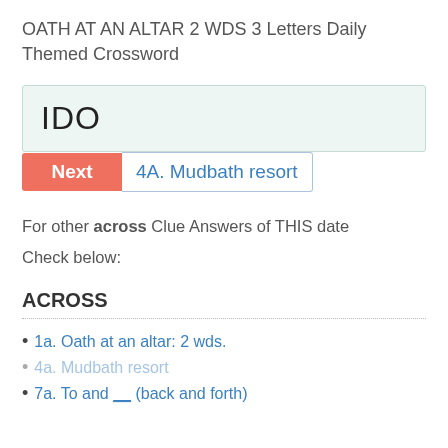OATH AT AN ALTAR 2 WDS 3 Letters Daily Themed Crossword
IDO
Next  4A. Mudbath resort
For other across Clue Answers of THIS date
Check below:
ACROSS
1a. Oath at an altar: 2 wds.
4a. Mudbath resort
7a. To and __ (back and forth)